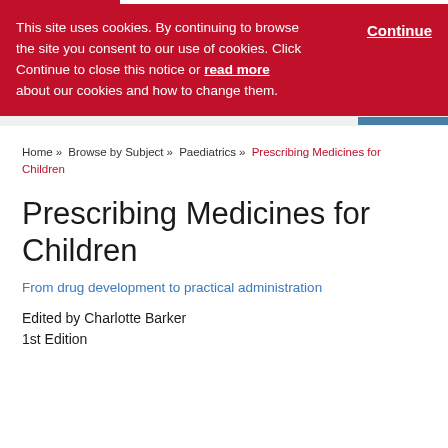This site uses cookies. By continuing to browse the site you consent to our use of cookies. Click Continue to close this notice or read more about our cookies and how to change them.
Continue
Home » Browse by Subject » Paediatrics » Prescribing Medicines for Children
Prescribing Medicines for Children
From drug development to practical administration
Edited by Charlotte Barker
1st Edition